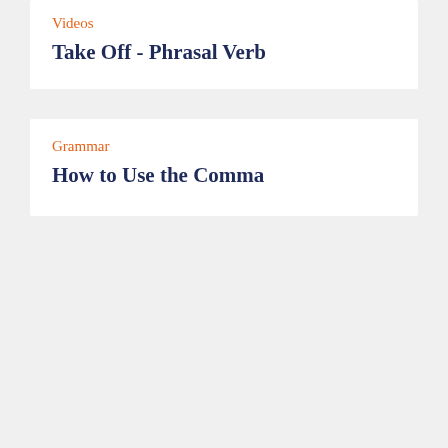Videos
Take Off - Phrasal Verb
Grammar
How to Use the Comma